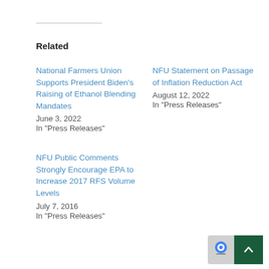Related
National Farmers Union Supports President Biden's Raising of Ethanol Blending Mandates
June 3, 2022
In "Press Releases"
NFU Statement on Passage of Inflation Reduction Act
August 12, 2022
In "Press Releases"
NFU Public Comments Strongly Encourage EPA to Increase 2017 RFS Volume Levels
July 7, 2016
In "Press Releases"